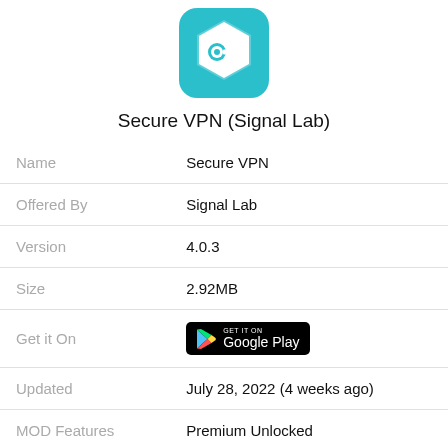[Figure (logo): Secure VPN app icon: teal/cyan rounded hexagon shape with a white key emoji symbol in the center]
Secure VPN (Signal Lab)
| Name | Secure VPN |
| Offered By | Signal Lab |
| Version | 4.0.3 |
| Size | 2.92MB |
| Get it On | Google Play |
| Updated | July 28, 2022 (4 weeks ago) |
| MOD Features | Premium Unlocked |